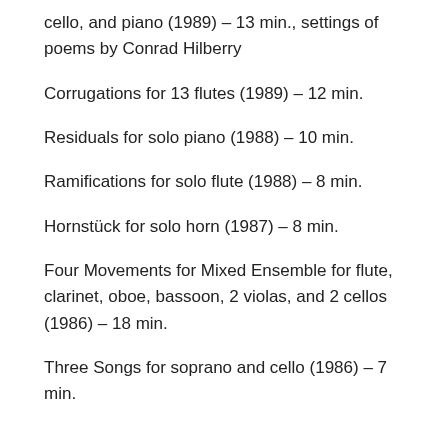cello, and piano (1989) – 13 min., settings of poems by Conrad Hilberry
Corrugations for 13 flutes (1989) – 12 min.
Residuals for solo piano (1988) – 10 min.
Ramifications for solo flute (1988) – 8 min.
Hornstück for solo horn (1987) – 8 min.
Four Movements for Mixed Ensemble for flute, clarinet, oboe, bassoon, 2 violas, and 2 cellos (1986) – 18 min.
Three Songs for soprano and cello (1986) – 7 min.